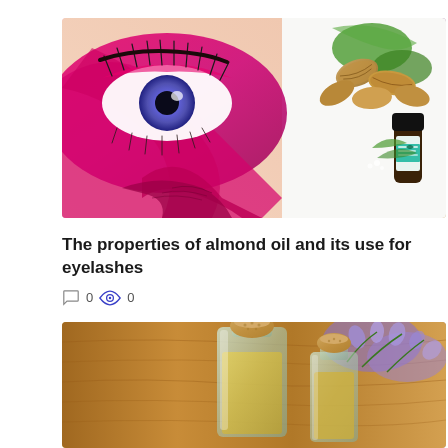[Figure (photo): Composite image: close-up of an eye with dramatic pink/purple makeup and long lashes on the left; almonds with green leaves and a small dark essential oil bottle on the right]
The properties of almond oil and its use for eyelashes
0  0
[Figure (photo): Glass bottles with cork stoppers containing oils, with purple flowers in the background on a wooden surface]